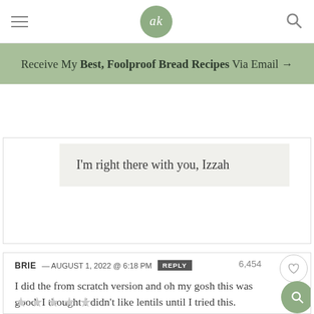ak — navigation header with hamburger menu, logo, and search icon
Receive My Best, Foolproof Bread Recipes Via Email →
I'm right there with you, Izzah
BRIE — AUGUST 1, 2022 @ 6:18 PM REPLY
I did the from scratch version and oh my gosh this was good. I thought I didn't like lentils until I tried this.